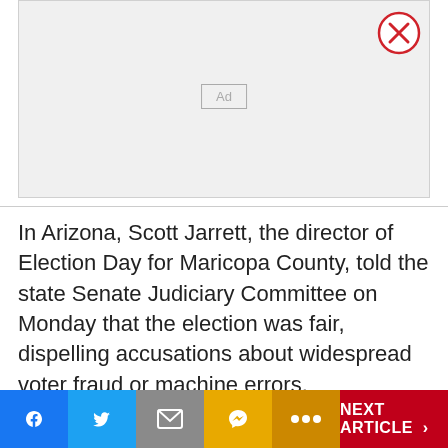[Figure (other): Advertisement placeholder box with 'Ad' label and close button (red X circle) in top-right corner]
In Arizona, Scott Jarrett, the director of Election Day for Maricopa County, told the state Senate Judiciary Committee on Monday that the election was fair, dispelling accusations about widespread voter fraud or machine errors.
[Figure (other): Social share bar with Facebook, Twitter, Mail, Messenger, More buttons and NEXT ARTICLE button]